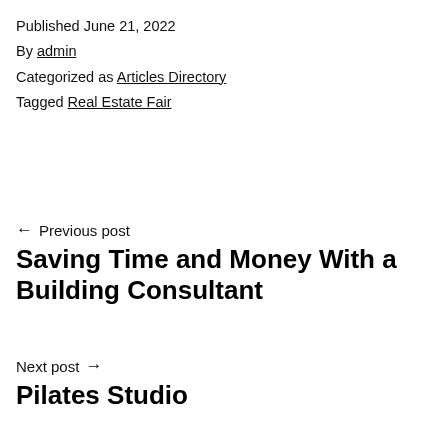Published June 21, 2022
By admin
Categorized as Articles Directory
Tagged Real Estate Fair
← Previous post
Saving Time and Money With a Building Consultant
Next post →
Pilates Studio